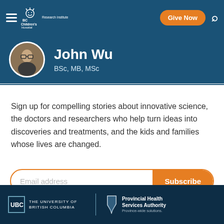BC Children's Hospital Research Institute — Give Now
John Wu
BSc, MB, MSc
Sign up for compelling stories about innovative science, the doctors and researchers who help turn ideas into discoveries and treatments, and the kids and families whose lives are changed.
Email address | Subscribe
THE UNIVERSITY OF BRITISH COLUMBIA | Provincial Health Services Authority — Province-wide solutions.